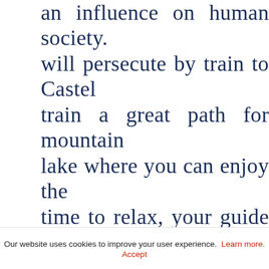an influence on human society. will persecute by train to Castel train a great path for mountain lake where you can enjoy the time to relax, your guide will wonderful view on Castel Gand head back to Rome: a nice desc tour will follow the ancient Appi date back more than 2300 yea road by tombs, ruins and ancie great chance to see Rome's ancient Roman history and last
Our website uses cookies to improve your user experience. Learn more. Accept